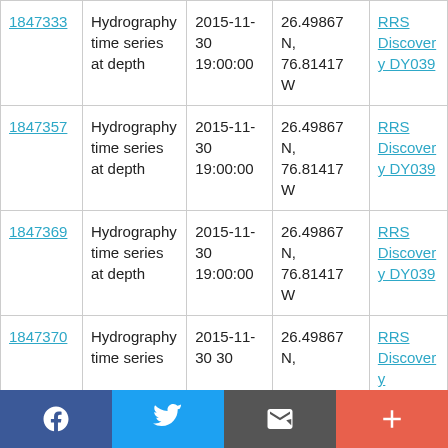| ID | Type | Date/Time | Location | Vessel |
| --- | --- | --- | --- | --- |
| 1847333 | Hydrography time series at depth | 2015-11-30 19:00:00 | 26.49867 N, 76.81417 W | RRS Discovery DY039 |
| 1847357 | Hydrography time series at depth | 2015-11-30 19:00:00 | 26.49867 N, 76.81417 W | RRS Discovery DY039 |
| 1847369 | Hydrography time series at depth | 2015-11-30 19:00:00 | 26.49867 N, 76.81417 W | RRS Discovery DY039 |
| 1847370 | Hydrography time series | 2015-11-30 30 | 26.49867 N, | RRS Discovery |